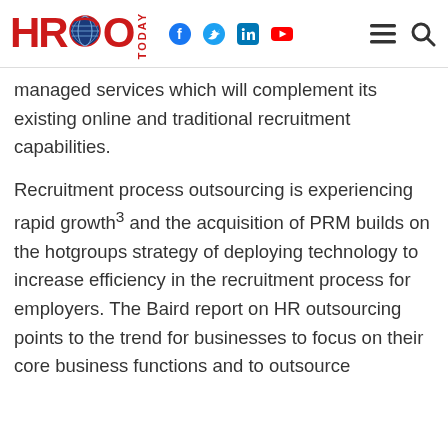HR Today (logo with social icons: Facebook, Twitter, LinkedIn, YouTube, menu, search)
managed services which will complement its existing online and traditional recruitment capabilities.
Recruitment process outsourcing is experiencing rapid growth3 and the acquisition of PRM builds on the hotgroups strategy of deploying technology to increase efficiency in the recruitment process for employers. The Baird report on HR outsourcing points to the trend for businesses to focus on their core business functions and to outsource